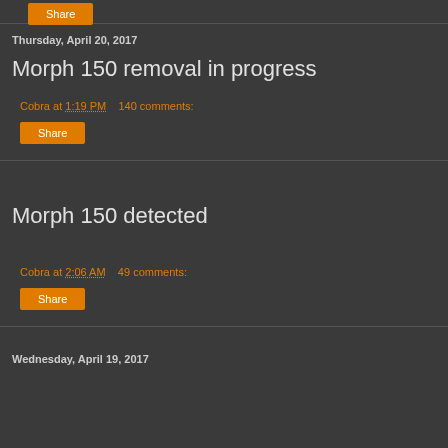Thursday, April 20, 2017
Morph 150 removal in progress
Cobra at 1:19 PM    140 comments:
Share
Morph 150 detected
Cobra at 2:06 AM    49 comments:
Share
Wednesday, April 19, 2017